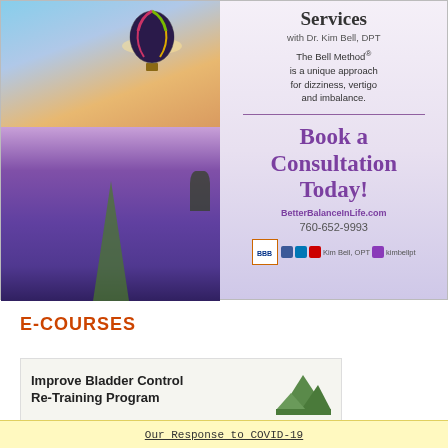[Figure (illustration): Advertisement for vestibular physical therapy services by Dr. Kim Bell, DPT. Left side shows a hot air balloon over a lavender field at sunset. Right side has text: 'Services with Dr. Kim Bell, DPT. The Bell Method® is a unique approach for dizziness, vertigo and imbalance. Book a Consultation Today! BetterBalanceInLife.com 760-652-9993'. Includes BBB badge and social media icons.]
E-COURSES
[Figure (illustration): Partial view of an e-course thumbnail for 'Improve Bladder Control Re-Training Program' with a mountain/landscape graphic on the right side.]
Our Response to COVID-19